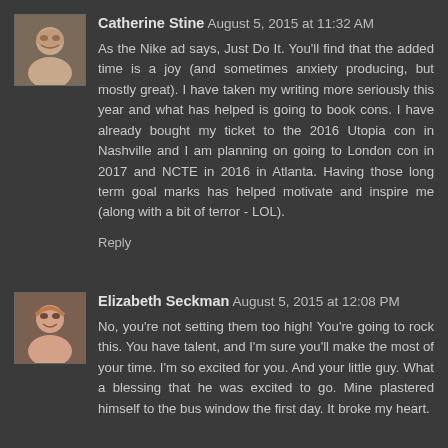Catherine Stine August 5, 2015 at 11:32 AM
As the Nike ad says, Just Do It. You'll find that the added time is a joy (and sometimes anxiety producing, but mostly great). I have taken my writing more seriously this year and what has helped is going to book cons. I have already bought my ticket to the 2016 Utopia con in Nashville and I am planning on going to London con in 2017 and NCTE in 2016 in Atlanta. Having those long term goal marks has helped motivate and inspire me (along with a bit of terror - LOL).
Reply
Elizabeth Seckman August 5, 2015 at 12:08 PM
No, you're not setting them too high! You're going to rock this. You have talent, and I'm sure you'll make the most of your time. I'm so excited for you. And your little guy. What a blessing that he was excited to go. Mine plastered himself to the bus window the first day. It broke my heart.